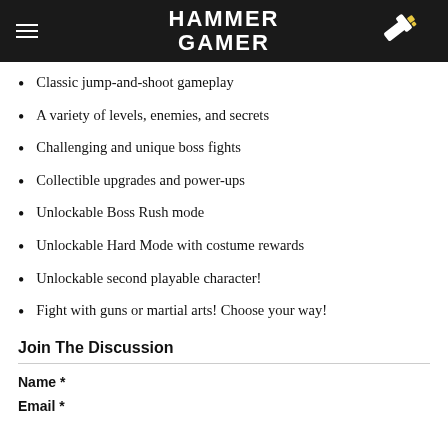HAMMER GAMER
Classic jump-and-shoot gameplay
A variety of levels, enemies, and secrets
Challenging and unique boss fights
Collectible upgrades and power-ups
Unlockable Boss Rush mode
Unlockable Hard Mode with costume rewards
Unlockable second playable character!
Fight with guns or martial arts! Choose your way!
Join The Discussion
Name *
Email *